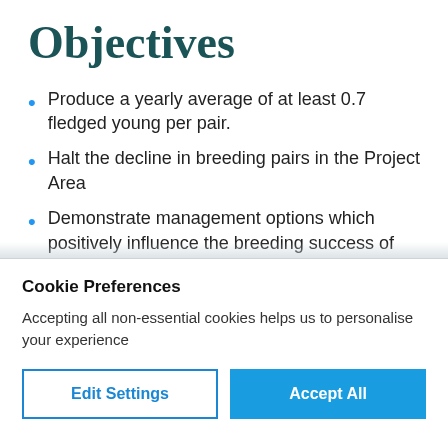Objectives
Produce a yearly average of at least 0.7 fledged young per pair.
Halt the decline in breeding pairs in the Project Area
Demonstrate management options which positively influence the breeding success of lapwing within a
Cookie Preferences
Accepting all non-essential cookies helps us to personalise your experience